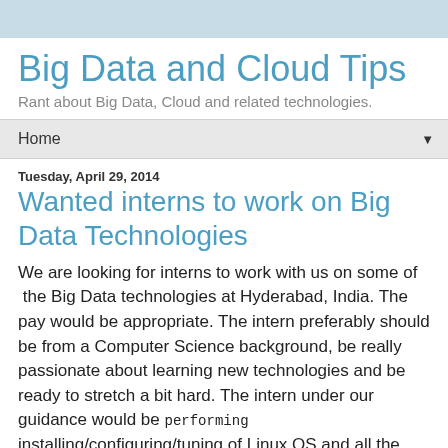Big Data and Cloud Tips
Rant about Big Data, Cloud and related technologies.
Home
Tuesday, April 29, 2014
Wanted interns to work on Big Data Technologies
We are looking for interns to work with us on some of  the Big Data technologies at Hyderabad, India. The pay would be appropriate. The intern preferably should be from a Computer Science background, be really passionate about learning new technologies and be ready to stretch a bit hard. The intern under our guidance would be performing installing/configuring/tuning of Linux OS and all the way to the Hadoop and related Big Data frameworks on the cluster. Once the Hadoop cluster has been setup, we have got a